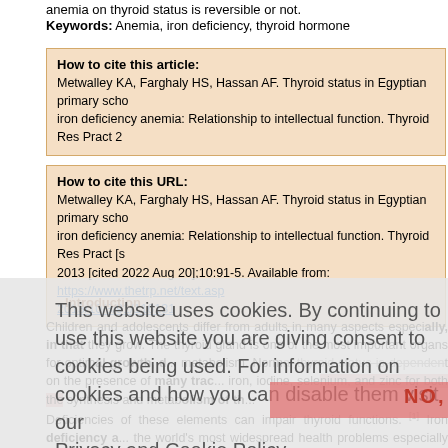anemia on thyroid status is reversible or not.
Keywords: Anemia, iron deficiency, thyroid hormone
How to cite this article: Metwalley KA, Farghaly HS, Hassan AF. Thyroid status in Egyptian primary school children with iron deficiency anemia: Relationship to intellectual function. Thyroid Res Pract 2...
How to cite this URL: Metwalley KA, Farghaly HS, Hassan AF. Thyroid status in Egyptian primary school children with iron deficiency anemia: Relationship to intellectual function. Thyroid Res Pract [s... 2013 [cited 2022 Aug 20];10:91-5. Available from: https://www.thetrp.net/text.asp...2013/10/3/91/116131
Introduction
Children and adolescents differ from adults in many aspects especially, in that they grow. The thyroid gland is one of the most important organs for optimal growth, d... metabolism. Normal thyroid status is dependent on the presence of many trac... iron, iodine, selenium, and zinc for both the synthesis and metabolism of th... Deficiencies of these elements can impair thyroid functions. [1] Iron deficiency a... the world's most widespread health problems especially among children. In...